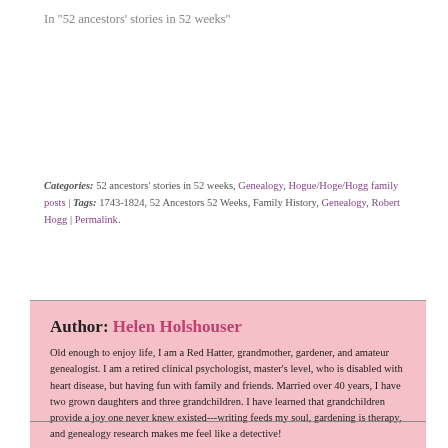In "52 ancestors' stories in 52 weeks"
Categories: 52 ancestors' stories in 52 weeks, Genealogy, Hogue/Hoge/Hogg family posts | Tags: 1743-1824, 52 Ancestors 52 Weeks, Family History, Genealogy, Robert Hogg | Permalink.
Author: Helen Holshouser
Old enough to enjoy life, I am a Red Hatter, grandmother, gardener, and amateur genealogist. I am a retired clinical psychologist, master's level, who is disabled with heart disease, but having fun with family and friends. Married over 40 years, I have two grown daughters and three grandchildren. I have learned that grandchildren provide a joy one never knew existed---writing feeds my soul, gardening is therapy, and genealogy research makes me feel like a detective!